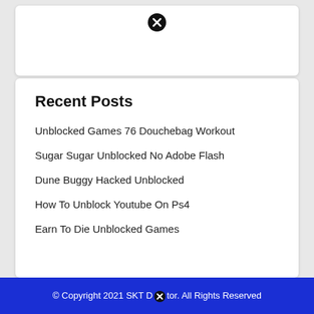[Figure (other): Close/cancel icon (circle with X) at top of card]
Recent Posts
Unblocked Games 76 Douchebag Workout
Sugar Sugar Unblocked No Adobe Flash
Dune Buggy Hacked Unblocked
How To Unblock Youtube On Ps4
Earn To Die Unblocked Games
© Copyright 2021 SKT Doctor. All Rights Reserved